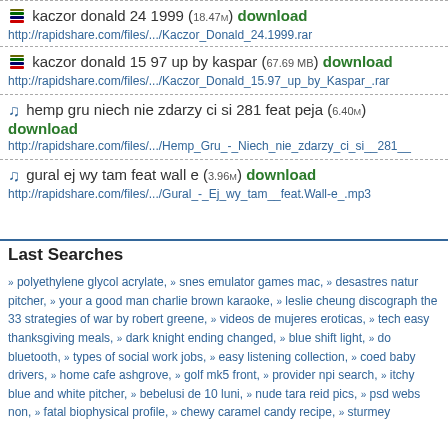kaczor donald 24 1999 (18.47M) download
http://rapidshare.com/files/.../Kaczor_Donald_24.1999.rar
kaczor donald 15 97 up by kaspar (67.69 MB) download
http://rapidshare.com/files/.../Kaczor_Donald_15.97_up_by_Kaspar_.rar
hemp gru niech nie zdarzy ci si 281 feat peja (6.40M) download
http://rapidshare.com/files/.../Hemp_Gru_-_Niech_nie_zdarzy_ci_si__281__
gural ej wy tam feat wall e (3.96M) download
http://rapidshare.com/files/.../Gural_-_Ej_wy_tam__feat.Wall-e_.mp3
Last Searches
polyethylene glycol acrylate, snes emulator games mac, desastres natur pitcher, your a good man charlie brown karaoke, leslie cheung discograph the 33 strategies of war by robert greene, videos de mujeres eroticas, tech easy thanksgiving meals, dark knight ending changed, blue shift light, do bluetooth, types of social work jobs, easy listening collection, coed baby drivers, home cafe ashgrove, golf mk5 front, provider npi search, itchy blue and white pitcher, bebelusi de 10 luni, nude tara reid pics, psd webs non, fatal biophysical profile, chewy caramel candy recipe, sturmey